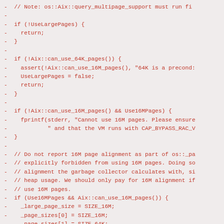// Note: os::Aix::query_multipage_support must run fi
-
- if (!UseLargePages) {
-   return;
- }
-
- if (!Aix::can_use_64K_pages()) {
-   assert(!Aix::can_use_16M_pages(), "64K is a precond:
-   UseLargePages = false;
-   return;
- }
-
- if (!Aix::can_use_16M_pages() && Use16MPages) {
-   fprintf(stderr, "Cannot use 16M pages. Please ensure
-           " and that the VM runs with CAP_BYPASS_RAC_V
- }
-
- // Do not report 16M page alignment as part of os::_pa
- // explicitly forbidden from using 16M pages. Doing so
- // alignment the garbage collector calculates with, si
- // heap usage. We should only pay for 16M alignment if
- // use 16M pages.
- if (Use16MPages && Aix::can_use_16M_pages()) {
-   _large_page_size = SIZE_16M;
-   _page_sizes[0] = SIZE_16M;
-   _page_sizes[1] = SIZE_64K;
-   _page_sizes[2] = SIZE_4K;
-   _page_sizes[3] = 0;
- } else if (Aix::can_use_64K_pages()) {
-   _large_page_size = SIZE_64K;